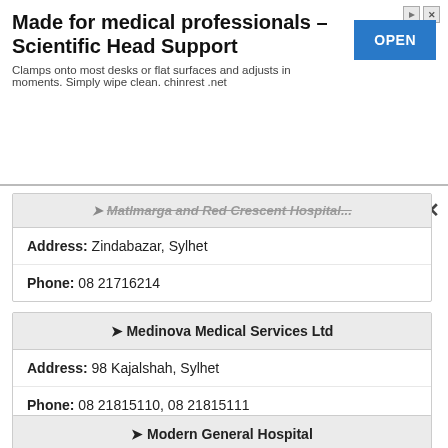[Figure (screenshot): Advertisement banner for Scientific Head Support product with blue OPEN button]
Address: Zindabazar, Sylhet
Phone: 08 21716214
➤ Medinova Medical Services Ltd
Address: 98 Kajalshah, Sylhet
Phone: 08 21815110, 08 21815111
➤ Modern General Hospital